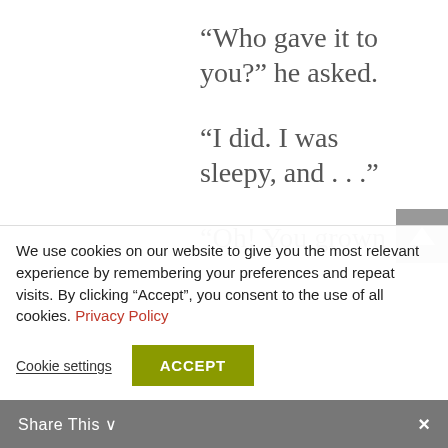“Who gave it to you?” he asked.
“I did. I was sleepy, and . . .”
“Oh! You grown
We use cookies on our website to give you the most relevant experience by remembering your preferences and repeat visits. By clicking “Accept”, you consent to the use of all cookies. Privacy Policy
Cookie settings
ACCEPT
Share This ∨  ×